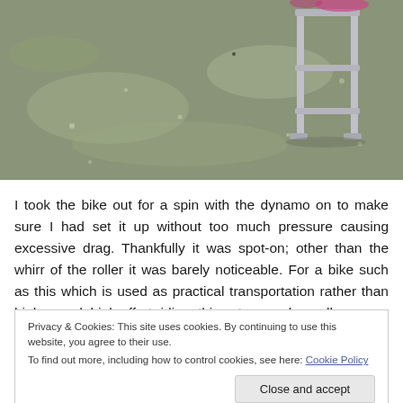[Figure (photo): Photograph of a wet pavement with a metal bicycle rack, taken from above. The ground is wet and glistening with moisture.]
I took the bike out for a spin with the dynamo on to make sure I had set it up without too much pressure causing excessive drag. Thankfully it was spot-on; other than the whirr of the roller it was barely noticeable. For a bike such as this which is used as practical transportation rather than high speed, high effort riding, this set-up works really
Privacy & Cookies: This site uses cookies. By continuing to use this website, you agree to their use.
To find out more, including how to control cookies, see here: Cookie Policy
Close and accept
Cycling to Shibuya